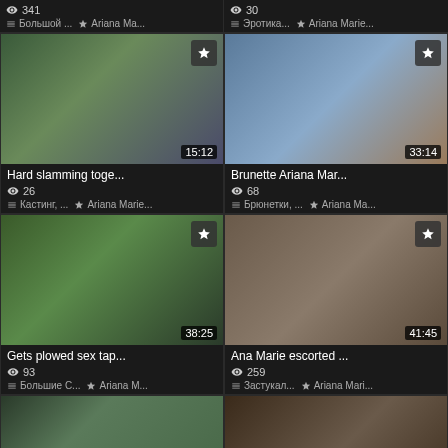341 | Большой ... | Ariana Ma...
30 | Эротика... | Ariana Marie...
[Figure (screenshot): Video thumbnail for Hard slamming toge... with duration 15:12]
Hard slamming toge...
26 views | Кастинг, ... | Ariana Marie...
[Figure (screenshot): Video thumbnail for Brunette Ariana Mar... with duration 33:14]
Brunette Ariana Mar...
68 views | Брюнетки, ... | Ariana Ma...
[Figure (screenshot): Video thumbnail for Gets plowed sex tap... with duration 38:25]
Gets plowed sex tap...
93 views | Большие С... | Ariana M...
[Figure (screenshot): Video thumbnail for Ana Marie escorted ... with duration 41:45]
Ana Marie escorted ...
259 views | Застукал... | Ariana Mari...